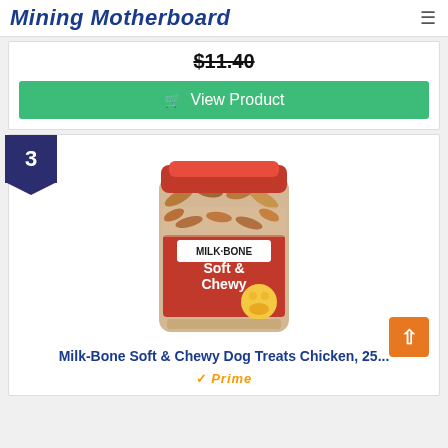Mining Motherboard
$11.40
View Product
3
[Figure (photo): Milk-Bone Soft & Chewy dog treats jar with red lid, showing dog biscuits inside a clear plastic container with a red label featuring a golden dog]
Milk-Bone Soft & Chewy Dog Treats Chicken, 25...
Prime